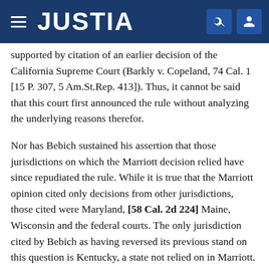JUSTIA
supported by citation of an earlier decision of the California Supreme Court (Barkly v. Copeland, 74 Cal. 1 [15 P. 307, 5 Am.St.Rep. 413]). Thus, it cannot be said that this court first announced the rule without analyzing the underlying reasons therefor.
Nor has Bebich sustained his assertion that those jurisdictions on which the Marriott decision relied have since repudiated the rule. While it is true that the Marriott opinion cited only decisions from other jurisdictions, those cited were Maryland, [58 Cal. 2d 224] Maine, Wisconsin and the federal courts. The only jurisdiction cited by Bebich as having reversed its previous stand on this question is Kentucky, a state not relied on in Marriott. fn. 2 It should also be pointed out that the doctrine emanated in Marriott and the other cases has been followed by the various appellate courts of this state without question, for 75 years. We are not